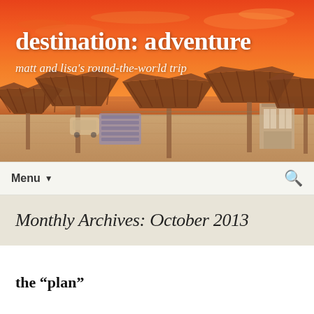[Figure (photo): Beach sunset scene with thatched umbrellas and chairs on sand, orange and red sky in background. Website header image for 'destination: adventure' travel blog.]
destination: adventure
matt and lisa's round-the-world trip
Menu ▼
Monthly Archives: October 2013
the “plan”